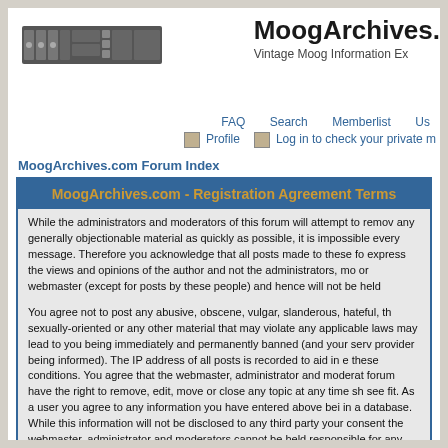[Figure (screenshot): MoogArchives.com website header with logo image showing synthesizer panel]
MoogArchives.
Vintage Moog Information Ex
FAQ  Search  Memberlist  Us  Profile  Log in to check your private m
MoogArchives.com Forum Index
MoogArchives.com - Registration Agreement Terms
While the administrators and moderators of this forum will attempt to remov any generally objectionable material as quickly as possible, it is impossible every message. Therefore you acknowledge that all posts made to these fo express the views and opinions of the author and not the administrators, mo or webmaster (except for posts by these people) and hence will not be held
You agree not to post any abusive, obscene, vulgar, slanderous, hateful, th sexually-oriented or any other material that may violate any applicable laws may lead to you being immediately and permanently banned (and your serv provider being informed). The IP address of all posts is recorded to aid in e these conditions. You agree that the webmaster, administrator and moderat forum have the right to remove, edit, move or close any topic at any time sh see fit. As a user you agree to any information you have entered above bei in a database. While this information will not be disclosed to any third party your consent the webmaster, administrator and moderators cannot be held responsible for any hacking attempt that may lead to the data being compro
This forum system uses cookies to store information on your local computer cookies do not contain any of the information you have entered above; the